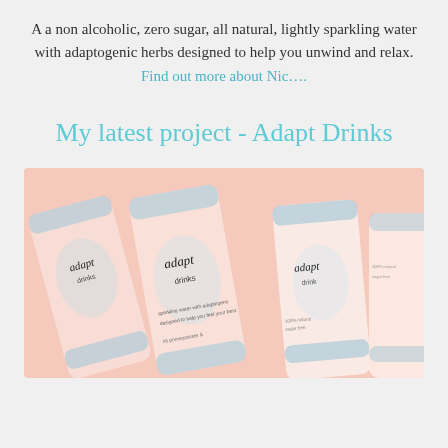A a non alcoholic, zero sugar, all natural, lightly sparkling water with adaptogenic herbs designed to help you unwind and relax. Find out more about Nic....
My latest project - Adapt Drinks
[Figure (photo): Photo of several Adapt Drinks cans with pastel pink and blue design, featuring cursive 'adapt drinks' branding, arranged diagonally]